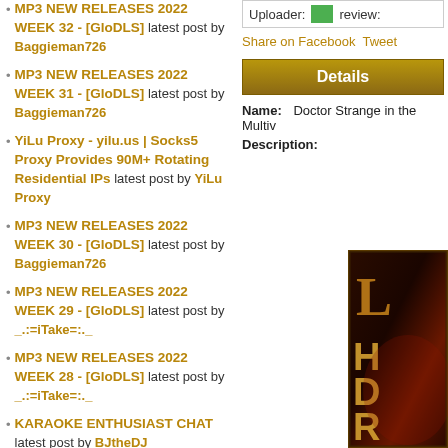MP3 NEW RELEASES 2022 WEEK 32 - [GloDLS] latest post by Baggieman726
MP3 NEW RELEASES 2022 WEEK 31 - [GloDLS] latest post by Baggieman726
YiLu Proxy - yilu.us | Socks5 Proxy Provides 90M+ Rotating Residential IPs latest post by YiLu Proxy
MP3 NEW RELEASES 2022 WEEK 30 - [GloDLS] latest post by Baggieman726
MP3 NEW RELEASES 2022 WEEK 29 - [GloDLS] latest post by _.:=iTake=:._
MP3 NEW RELEASES 2022 WEEK 28 - [GloDLS] latest post by _.:=iTake=:._
KARAOKE ENTHUSIAST CHAT latest post by BJtheDJ
BabuPC constant infected Applications latest post by gerald99
Uploader: review:
Share on Facebook Tweet
Details
Name: Doctor Strange in the Multiv
Description:
[Figure (photo): Partial movie poster for Doctor Strange in the Multiverse of Madness, showing dark reddish background with golden HDR text letters visible]